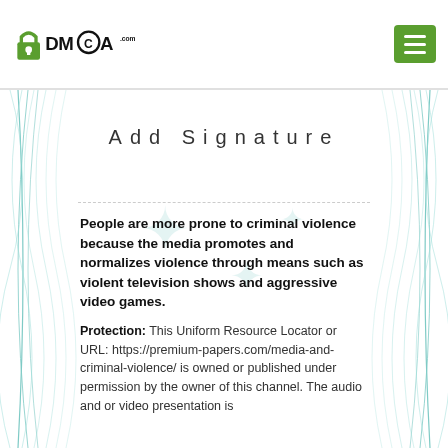[Figure (logo): DMCA.com logo with padlock icon and menu button]
Add Signature
People are more prone to criminal violence because the media promotes and normalizes violence through means such as violent television shows and aggressive video games.
Protection: This Uniform Resource Locator or URL: https://premium-papers.com/media-and-criminal-violence/ is owned or published under permission by the owner of this channel. The audio and or video presentation is